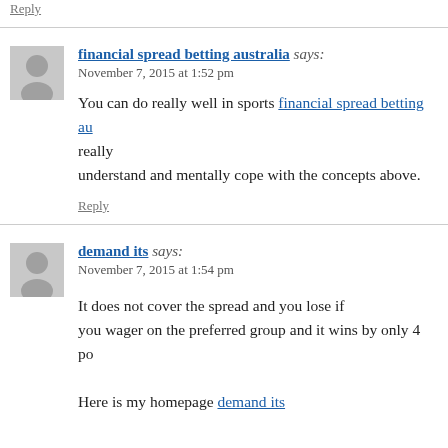Reply
financial spread betting australia says:
November 7, 2015 at 1:52 pm
You can do really well in sports financial spread betting au really understand and mentally cope with the concepts above.
Reply
demand its says:
November 7, 2015 at 1:54 pm
It does not cover the spread and you lose if you wager on the preferred group and it wins by only 4 po
Here is my homepage demand its